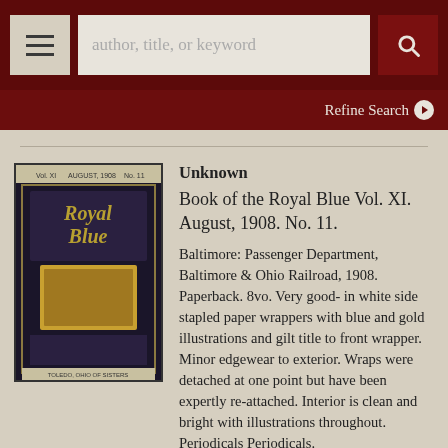[Figure (screenshot): Top navigation bar with hamburger menu button, search input field with placeholder 'author, title, or keyword', and a search (magnifying glass) button on dark red background]
[Figure (screenshot): Refine Search bar with text 'Refine Search' and a circular arrow icon on dark red background]
[Figure (photo): Book cover of 'Royal Blue' Vol. XI August 1908 No. 11 — ornate dark cover with gold lettering and illustration]
Unknown
Book of the Royal Blue Vol. XI. August, 1908. No. 11.
Baltimore: Passenger Department, Baltimore & Ohio Railroad, 1908. Paperback. 8vo. Very good- in white side stapled paper wrappers with blue and gold illustrations and gilt title to front wrapper. Minor edgewear to exterior. Wraps were detached at one point but have been expertly re-attached. Interior is clean and bright with illustrations throughout. Periodicals Periodicals.